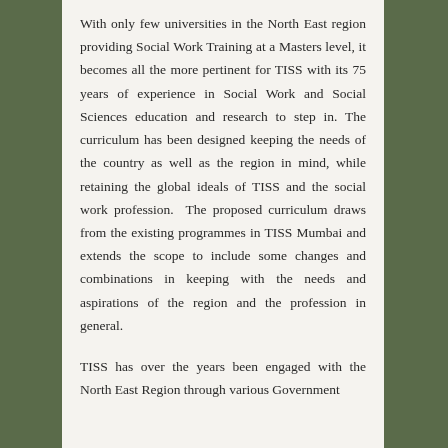With only few universities in the North East region providing Social Work Training at a Masters level, it becomes all the more pertinent for TISS with its 75 years of experience in Social Work and Social Sciences education and research to step in. The curriculum has been designed keeping the needs of the country as well as the region in mind, while retaining the global ideals of TISS and the social work profession.  The proposed curriculum draws from the existing programmes in TISS Mumbai and extends the scope to include some changes and combinations in keeping with the needs and aspirations of the region and the profession in general.

TISS has over the years been engaged with the North East Region through various Government